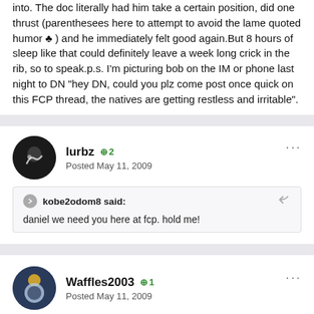into. The doc literally had him take a certain position, did one thrust (parenthesees here to attempt to avoid the lame quoted humor ♣ ) and he immediately felt good again.But 8 hours of sleep like that could definitely leave a week long crick in the rib, so to speak.p.s. I'm picturing bob on the IM or phone last night to DN "hey DN, could you plz come post once quick on this FCP thread, the natives are getting restless and irritable".
lurbz +2
Posted May 11, 2009
kobe2odom8 said:
daniel we need you here at fcp. hold me!
Waffles2003 +1
Posted May 11, 2009